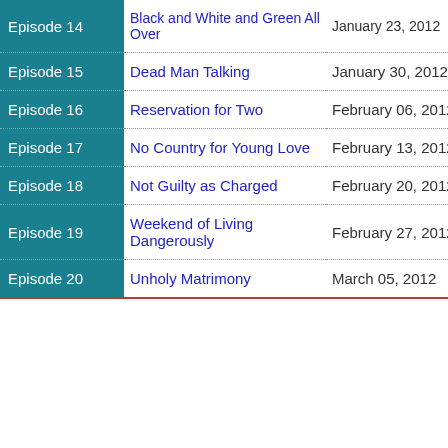| Episode | Title | Air Date |
| --- | --- | --- |
| Episode 14 | Black and White and Green All Over | January 23, 2012 |
| Episode 15 | Dead Man Talking | January 30, 2012 |
| Episode 16 | Reservation for Two | February 06, 2012 |
| Episode 17 | No Country for Young Love | February 13, 2012 |
| Episode 18 | Not Guilty as Charged | February 20, 2012 |
| Episode 19 | Weekend of Living Dangerously | February 27, 2012 |
| Episode 20 | Unholy Matrimony | March 05, 2012 |